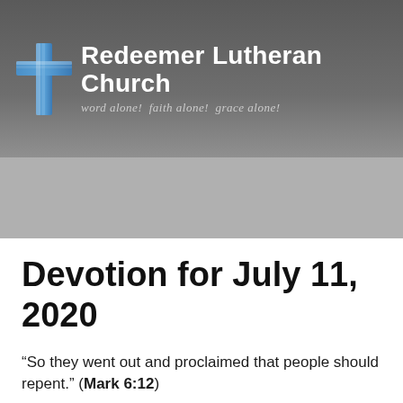[Figure (logo): Redeemer Lutheran Church header banner with cross logo, church name in white, and tagline 'word alone! faith alone! grace alone!' on dark gray background]
Devotion for July 11, 2020
“So they went out and proclaimed that people should repent.” (Mark 6:12)